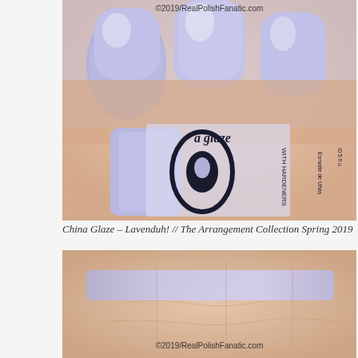[Figure (photo): Close-up photo of hand with periwinkle/lavender blue nail polish applied, with China Glaze nail polish bottle visible. Watermark reads ©2019/RealPolishFanatic.com at the top.]
China Glaze – Lavenduh! // The Arrangement Collection Spring 2019
[Figure (photo): Close-up photo of hand/skin swatch showing China Glaze Lavenduh nail polish color swatch on skin. Watermark reads ©2019/RealPolishFanatic.com at the bottom.]